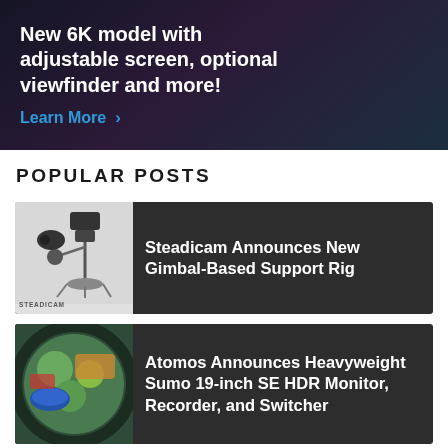[Figure (other): Dark promotional banner with text: 'New 6K model with adjustable screen, optional viewfinder and more!' and a 'Learn More >' link in blue]
POPULAR POSTS
[Figure (other): Dark post card with Steadicam product image thumbnail and title: Steadicam Announces New Gimbal-Based Support Rig]
[Figure (other): Dark post card with food/monitor image thumbnail and title: Atomos Announces Heavyweight Sumo 19-inch SE HDR Monitor, Recorder, and Switcher]